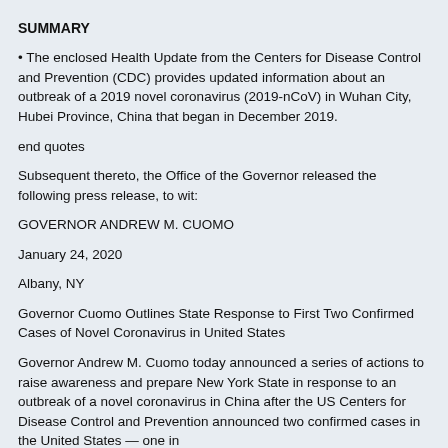SUMMARY
• The enclosed Health Update from the Centers for Disease Control and Prevention (CDC) provides updated information about an outbreak of a 2019 novel coronavirus (2019-nCoV) in Wuhan City, Hubei Province, China that began in December 2019.
end quotes
Subsequent thereto, the Office of the Governor released the following press release, to wit:
GOVERNOR ANDREW M. CUOMO
January 24, 2020
Albany, NY
Governor Cuomo Outlines State Response to First Two Confirmed Cases of Novel Coronavirus in United States
Governor Andrew M. Cuomo today announced a series of actions to raise awareness and prepare New York State in response to an outbreak of a novel coronavirus in China after the US Centers for Disease Control and Prevention announced two confirmed cases in the United States — one in